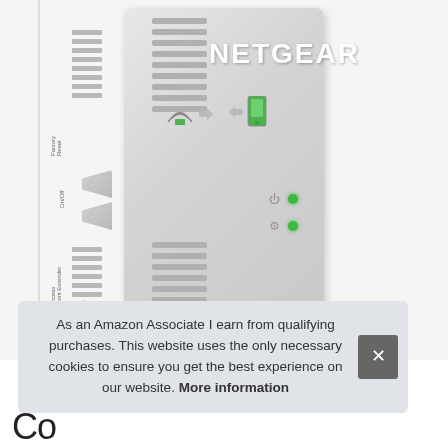[Figure (photo): A NETGEAR WiFi range extender/access point device shown in white, with ventilation grilles, buttons (Factory Reset, On/Off, Access Point/Extender mode switch), LED indicators with green lights, and WiFi/connectivity icons on the front face. The device is photographed against a light gray background.]
As an Amazon Associate I earn from qualifying purchases. This website uses the only necessary cookies to ensure you get the best experience on our website. More information
Co